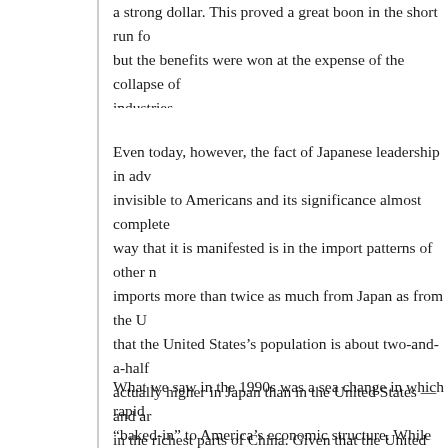a strong dollar. This proved a great boon in the short run for but the benefits were won at the expense of the collapse of industries.
Even today, however, the fact of Japanese leadership in adv invisible to Americans and its significance almost complete way that it is manifested is in the import patterns of other n imports more than twice as much from Japan as from the U that the United States’s population is about two-and-a-half actually higher in Japan than in the United States — and ar in the richest parts of China. Given that the United States c over Japan in selling to China, why do the Chinese buy so r in large measure is because it has little choice. The point is — and very often the only source — of countless highly ad China cannot make for itself, and without which China’s ex Essentially these days Japan does much of its exporting to
What we saw in the 1990s was a sea change in which rapid “baked-in” to America’s economic structure. While for a ti